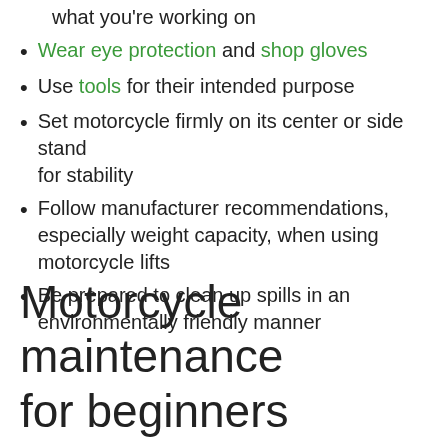what you're working on
Wear eye protection and shop gloves
Use tools for their intended purpose
Set motorcycle firmly on its center or side stand for stability
Follow manufacturer recommendations, especially weight capacity, when using motorcycle lifts
Be prepared to clean up spills in an environmentally friendly manner
Motorcycle maintenance for beginners